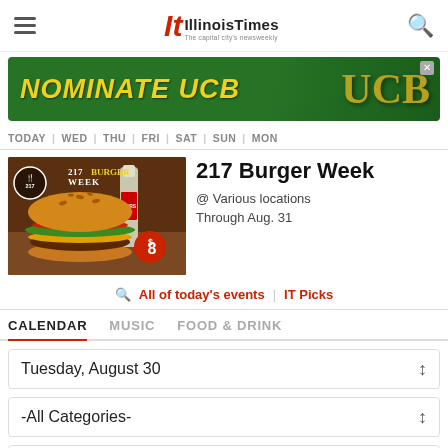Illinois Times - The capital city's newsweekly
[Figure (illustration): NOMINATE UCB advertisement banner with green background, gold italic text reading NOMINATE UCB with ornate UCB logo]
TODAY | WED | THU | FRI | SAT | SUN | MON
[Figure (photo): 217 Burger Week promotional image showing a large gourmet burger with sesame seed bun, lettuce, tomato, cheese next to a Coors Light beer bottle, with 217 BURGER WEEK logo and $8 price badge]
217 Burger Week
@ Various locations
Through Aug. 31
All of today's events | IT Picks
CALENDAR  MUSIC  FOOD & DRINK
Tuesday, August 30
-All Categories-